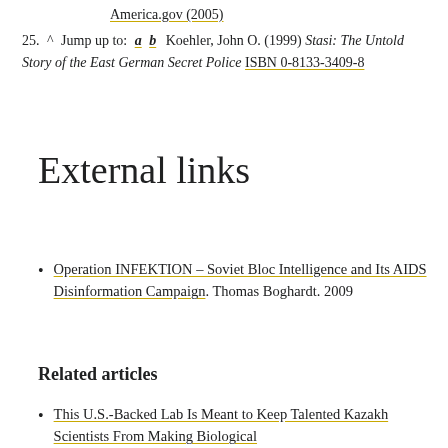America.gov (2005)
25. ^ Jump up to: a b Koehler, John O. (1999) Stasi: The Untold Story of the East German Secret Police ISBN 0-8133-3409-8
External links
Operation INFEKTION – Soviet Bloc Intelligence and Its AIDS Disinformation Campaign. Thomas Boghardt. 2009
Related articles
This U.S.-Backed Lab Is Meant to Keep Talented Kazakh Scientists From Making Biological